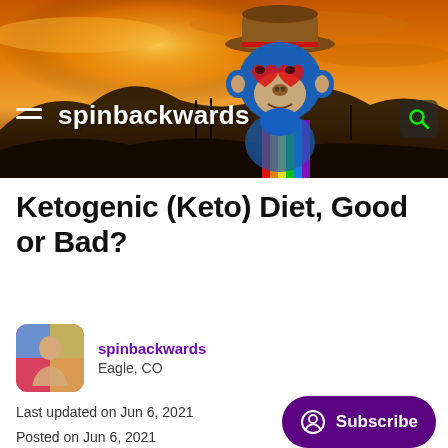[Figure (illustration): Website header banner for 'spinbackwards' blog showing a sunset/orange sky background with a blue cartoon monkey/ape character wearing a cowboy hat and rainbow suspenders. Includes hamburger menu icon on left and search icon on right.]
Ketogenic (Keto) Diet, Good or Bad?
spinbackwards
Eagle, CO
Last updated on Jun 6, 2021
Posted on Jun 6, 2021